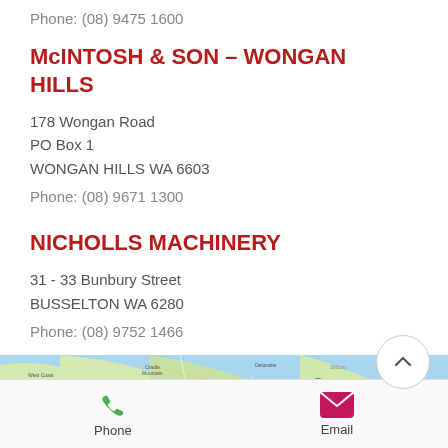Phone: (08) 9475 1600
McINTOSH & SON – WONGAN HILLS
178 Wongan Road
PO Box 1
WONGAN HILLS WA 6603
Phone: (08) 9671 1300
NICHOLLS MACHINERY
31 - 33 Bunbury Street
BUSSELTON WA 6280
Phone: (08) 9752 1466
[Figure (map): Google Maps style map showing Western Australia coastal region with a location pin marker]
Phone
Email